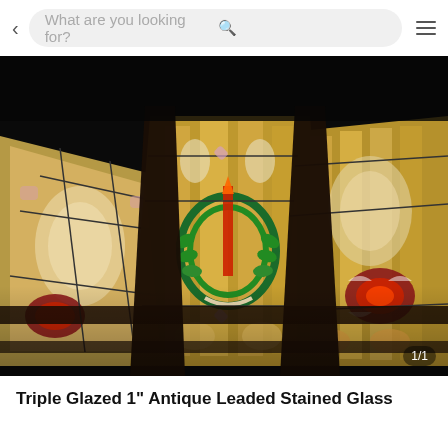< What are you looking for? [search icon] [menu icon]
[Figure (photo): Interior photo of antique leaded stained glass windows on a ceiling, showing decorative panels with colorful geometric and floral patterns including a wreath motif. The panels are set at angles in dark wooden frames. Image counter shows 1/1.]
Triple Glazed 1" Antique Leaded Stained Glass